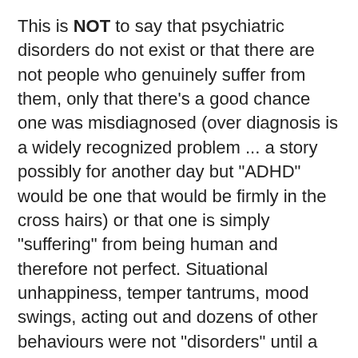This is NOT to say that psychiatric disorders do not exist or that there are not people who genuinely suffer from them, only that there's a good chance one was misdiagnosed (over diagnosis is a widely recognized problem ... a story possibly for another day but "ADHD" would be one that would be firmly in the cross hairs) or that one is simply "suffering" from being human and therefore not perfect. Situational unhappiness, temper tantrums, mood swings, acting out and dozens of other behaviours were not "disorders" until a combination of perfectionist seeking society started overreacting to them and modern psychiatry, backed by the profit seeking pharmaceutical industry (and statistics will show that "disorders" sky rocketed after these two linked up about five decades ago), decided - and I do mean decided, see again the vote by a show of hands - that so much of normal human behaviour is an "illness"